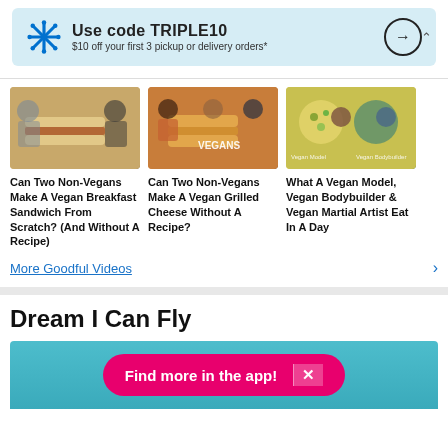[Figure (screenshot): Walmart ad banner with snowflake logo: Use code TRIPLE10, $10 off your first 3 pickup or delivery orders, with arrow circle button]
[Figure (screenshot): Three video thumbnails in a row: (1) Can Two Non-Vegans Make A Vegan Breakfast Sandwich From Scratch? (2) Can Two Non-Vegans Make A Vegan Grilled Cheese Without A Recipe? (3) What A Vegan Model, Vegan Bodybuilder & Vegan Martial Artist Eat In A Day]
More Goodful Videos
Dream I Can Fly
[Figure (screenshot): App promotion bar with pink 'Find more in the app!' button and X close button on teal background]